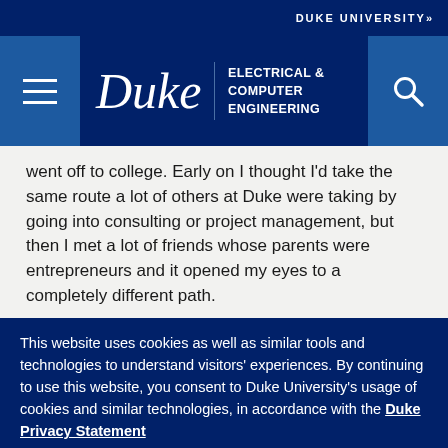DUKE UNIVERSITY»
[Figure (logo): Duke University Electrical & Computer Engineering navigation bar with hamburger menu icon on left, Duke wordmark and department name in center, and search icon on right, all on dark navy blue background]
went off to college. Early on I thought I'd take the same route a lot of others at Duke were taking by going into consulting or project management, but then I met a lot of friends whose parents were entrepreneurs and it opened my eyes to a completely different path.
The social atmosphere at Duke was a lot of fun. The residential experience leant toward a very collaborative environment, and I learned a lot
This website uses cookies as well as similar tools and technologies to understand visitors' experiences. By continuing to use this website, you consent to Duke University's usage of cookies and similar technologies, in accordance with the Duke Privacy Statement